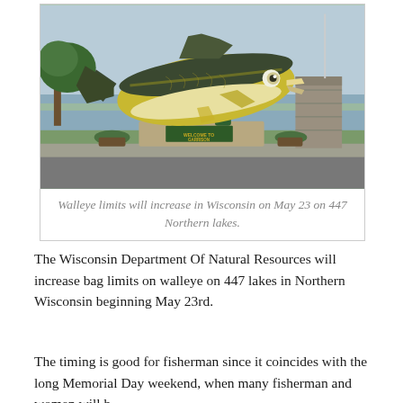[Figure (photo): Large decorative walleye fish sculpture mounted on a pedestal with a 'Welcome to Garrison' sign, set in a park-like waterfront area with trees, grass, a stone monument, and a lake visible in the background.]
Walleye limits will increase in Wisconsin on May 23 on 447 Northern lakes.
The Wisconsin Department Of Natural Resources will increase bag limits on walleye on 447 lakes in Northern Wisconsin beginning May 23rd.
The timing is good for fisherman since it coincides with the long Memorial Day weekend, when many fisherman and women will b